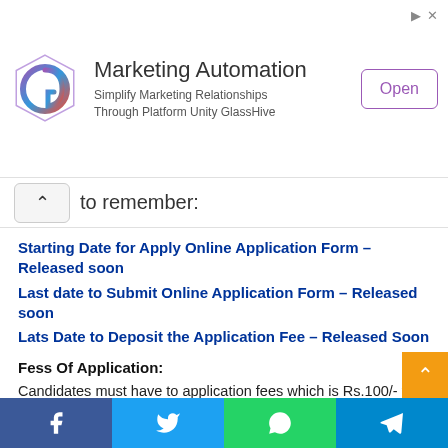[Figure (other): Marketing Automation ad banner with GlassHive logo, tagline 'Simplify Marketing Relationships Through Platform Unity GlassHive', and an Open button]
to remember:
Starting Date for Apply Online Application Form – Released soon
Last date to Submit Online Application Form – Released soon
Lats Date to Deposit the Application Fee – Released Soon
Fess Of Application:
Candidates must have to application fees which is Rs.100/- for Unreserved and OBC candidates and should to pay Rs.25/- for SC/ST/Ex. Serviceman persons.